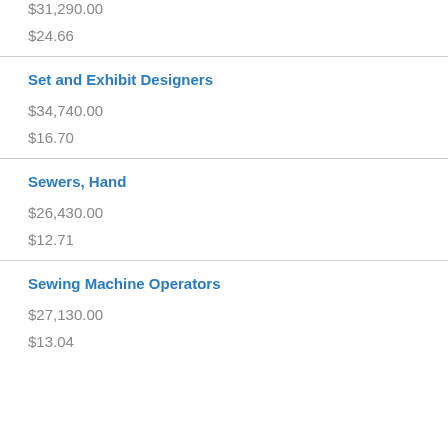$31,290.00
$24.66
Set and Exhibit Designers
$34,740.00
$16.70
Sewers, Hand
$26,430.00
$12.71
Sewing Machine Operators
$27,130.00
$13.04